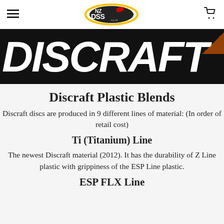NZ DSS .co.nz logo with hamburger menu and cart icon
[Figure (logo): Discraft brand banner — large white italic DISCRAFT text on black background]
Discraft Plastic Blends
Discraft discs are produced in 9 different lines of material: (In order of retail cost)
Ti (Titanium) Line
The newest Discraft material (2012). It has the durability of Z Line plastic with grippiness of the ESP Line plastic.
ESP FLX Line